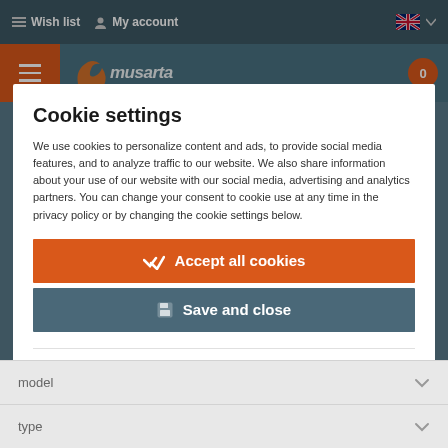Wish list  My account
[Figure (screenshot): Website header with hamburger menu, orange button, and logo area on teal background]
Cookie settings
We use cookies to personalize content and ads, to provide social media features, and to analyze traffic to our website. We also share information about your use of our website with our social media, advertising and analytics partners. You can change your consent to cookie use at any time in the privacy policy or by changing the cookie settings below.
Accept all cookies
Save and close
Essential
Essential cookies provide the basic functionality and...
model
type